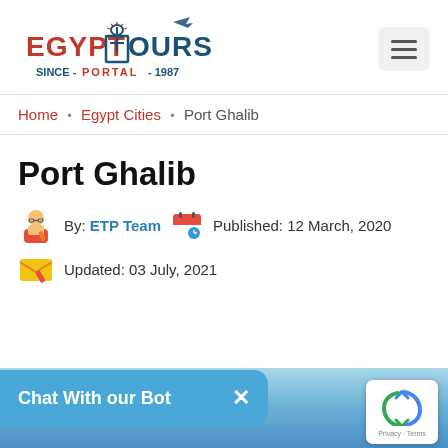[Figure (logo): Egypt Tours Portal logo with ankh symbol and airplane icon, 'SINCE-PORTAL-1987' tagline]
Home • Egypt Cities • Port Ghalib
Port Ghalib
By: ETP Team  Published: 12 March, 2020
Updated: 03 July, 2021
Chat With our Bot  ×
[Figure (photo): Blue sky gradient background at the bottom of the page]
[Figure (other): reCAPTCHA Privacy - Terms badge]